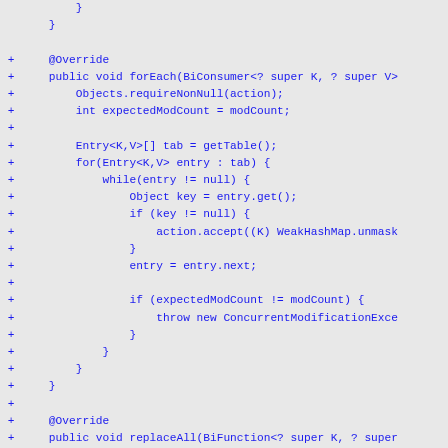Code diff showing Java forEach and replaceAll methods for WeakHashMap class with additions marked by + symbols